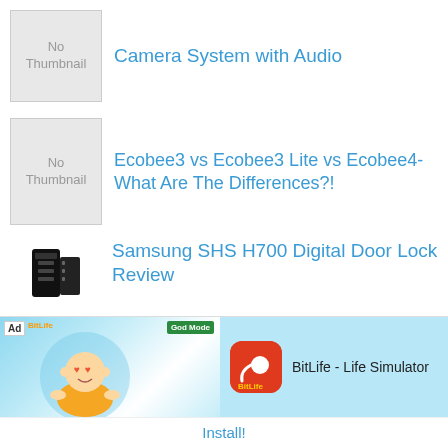Camera System with Audio
Ecobee3 vs Ecobee3 Lite vs Ecobee4- What Are The Differences?!
Samsung SHS H700 Digital Door Lock Review
IFTTT and Arlo: The Best Applets
[Figure (screenshot): Ad banner for BitLife - Life Simulator app with animated guru character and install button]